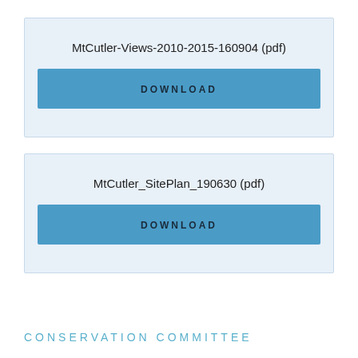MtCutler-Views-2010-2015-160904 (pdf)
DOWNLOAD
MtCutler_SitePlan_190630 (pdf)
DOWNLOAD
CONSERVATION COMMITTEE